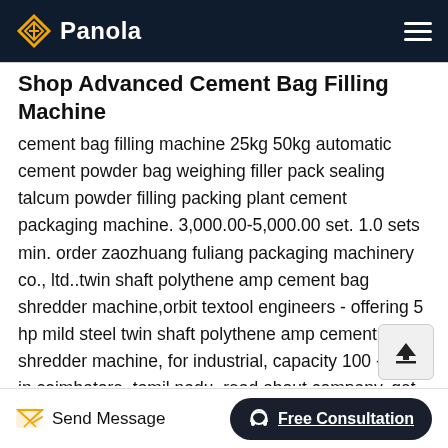Panola
Shop Advanced Cement Bag Filling Machine
cement bag filling machine 25kg 50kg automatic cement powder bag weighing filler pack sealing talcum powder filling packing plant cement packaging machine. 3,000.00-5,000.00 set. 1.0 sets min. order zaozhuang fuliang packaging machinery co., ltd..twin shaft polythene amp cement bag shredder machine,orbit textool engineers - offering 5 hp mild steel twin shaft polythene amp cement bag shredder machine, for industrial, capacity 100 -500kg in coimbatore, tamil nadu. read about company. get contact details and address id 21655182433.giromat evo rotary packer flsmidth,- bag sealing system on board ultrasonic technology. flsmidth ventomatic supply and
Send Message | Free Consultation